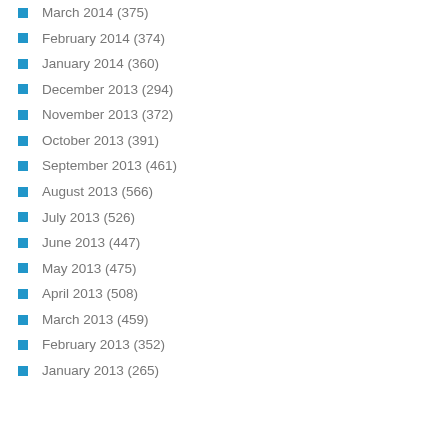March 2014 (375)
February 2014 (374)
January 2014 (360)
December 2013 (294)
November 2013 (372)
October 2013 (391)
September 2013 (461)
August 2013 (566)
July 2013 (526)
June 2013 (447)
May 2013 (475)
April 2013 (508)
March 2013 (459)
February 2013 (352)
January 2013 (265)